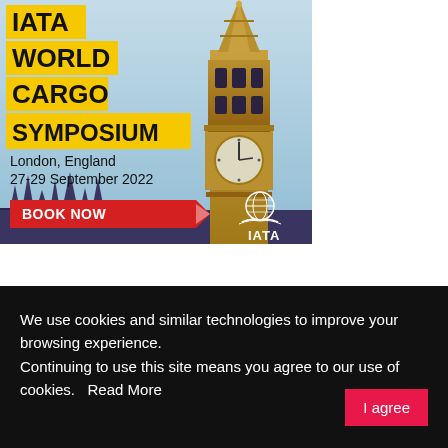[Figure (illustration): IATA World Cargo Symposium advertisement banner featuring Big Ben and London skyline. Yellow highlighted text reads IATA WORLD CARGO SYMPOSIUM, location London England 27-29 September 2022, red BOOK NOW button, IATA logo.]
We use cookies and similar technologies to improve your browsing experience.
Continuing to use this site means you agree to our use of cookies.   Read More